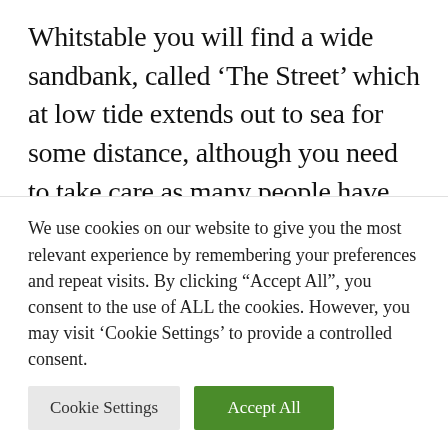Whitstable you will find a wide sandbank, called ‘The Street’ which at low tide extends out to sea for some distance, although you need to take care as many people have been stranded, cut off from the mainland as the tide closes in behind them! This sandbank was actually a launching site for the burial boats of the Ancients, pushed out to sea whilst burning to return the soul of the dead to the Gods. The boats were also sent in the direction of the Isle
We use cookies on our website to give you the most relevant experience by remembering your preferences and repeat visits. By clicking “Accept All”, you consent to the use of ALL the cookies. However, you may visit ‘Cookie Settings’ to provide a controlled consent.